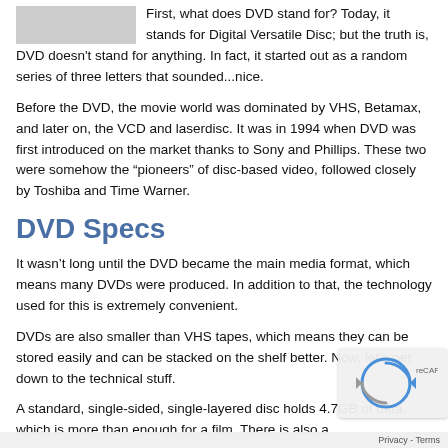[Figure (photo): Partial image of a DVD or related media, shown as a gray rectangle at the top left]
First, what does DVD stand for? Today, it stands for Digital Versatile Disc; but the truth is, DVD doesn't stand for anything. In fact, it started out as a random series of three letters that sounded...nice.
Before the DVD, the movie world was dominated by VHS, Betamax, and later on, the VCD and laserdisc. It was in 1994 when DVD was first introduced on the market thanks to Sony and Phillips. These two were somehow the “pioneers” of disc-based video, followed closely by Toshiba and Time Warner.
DVD Specs
It wasn’t long until the DVD became the main media format, which means many DVDs were produced. In addition to that, the technology used for this is extremely convenient.
DVDs are also smaller than VHS tapes, which means they can be stored easily and can be stacked on the shelf better. Now, let’s get down to the technical stuff.
A standard, single-sided, single-layered disc holds 4.7GB of data, which is more than enough for a film. There is also a